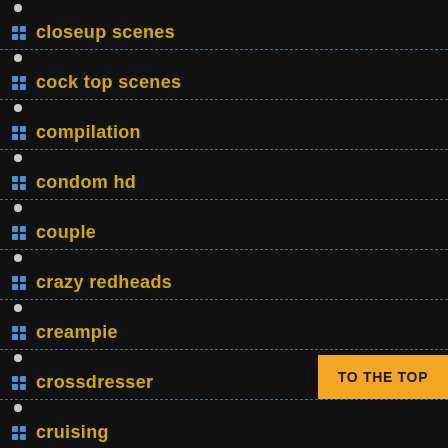closeup scenes
cock top scenes
compilation
condom hd
couple
crazy redheads
creampie
crossdresser
cruising
cuckold